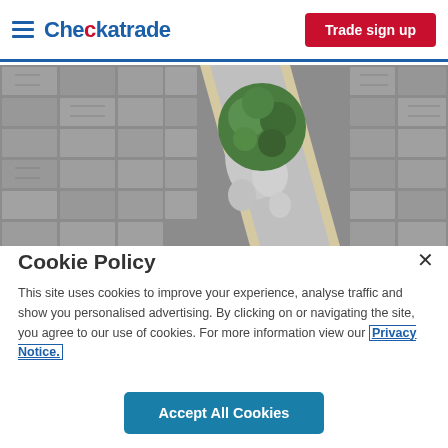Checkatrade — Trade sign up
[Figure (photo): Overhead photo of grey block paving with a decorative strip of cream paving slabs and white gravel containing a small rounded topiary bush]
Cookie Policy
This site uses cookies to improve your experience, analyse traffic and show you personalised advertising. By clicking on or navigating the site, you agree to our use of cookies. For more information view our Privacy Notice.
Accept All Cookies